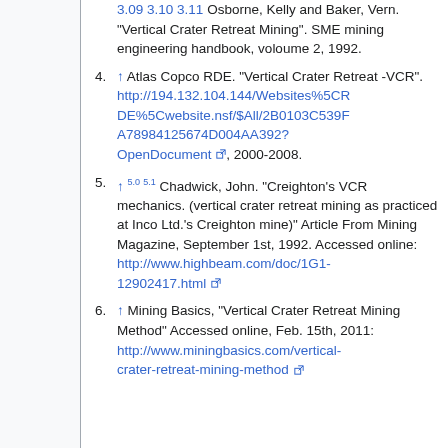3.09 3.10 3.11 Osborne, Kelly and Baker, Vern. "Vertical Crater Retreat Mining". SME mining engineering handbook, voloume 2, 1992.
4. ↑ Atlas Copco RDE. "Vertical Crater Retreat -VCR". http://194.132.104.144/Websites%5CRDE%5Cwebsite.nsf/$All/2B0103C539FA78984125674D004AA392?OpenDocument, 2000-2008.
5. ↑ 5.0 5.1 Chadwick, John. "Creighton's VCR mechanics. (vertical crater retreat mining as practiced at Inco Ltd.'s Creighton mine)" Article From Mining Magazine, September 1st, 1992. Accessed online: http://www.highbeam.com/doc/1G1-12902417.html
6. ↑ Mining Basics, "Vertical Crater Retreat Mining Method" Accessed online, Feb. 15th, 2011: http://www.miningbasics.com/vertical-crater-retreat-mining-method